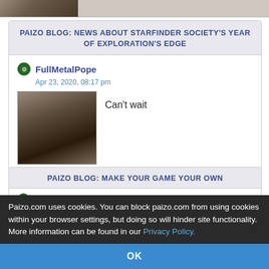[Figure (photo): Partially cropped fantasy character image at top of page]
PAIZO BLOG: NEWS ABOUT STARFINDER SOCIETY'S YEAR OF EXPLORATION'S EDGE
FullMetalPope
Apr 23, 2020, 08:17 pm
[Figure (illustration): Fantasy character avatar — angry warrior with long hair]
Can't wait
PAIZO BLOG: MAKE YOUR GAME YOUR OWN
FullMetalPope
Feb 26, 2020, 10:48 pm
[Figure (illustration): Fantasy character avatar — partially visible]
This is
5 people marked this as a favorite.
Paizo.com uses cookies. You can block paizo.com from using cookies within your browser settings, but doing so will hinder site functionality. More information can be found in our Privacy Policy.
OK